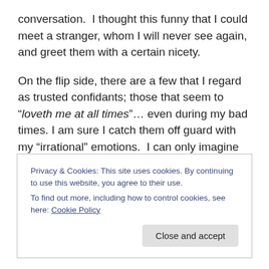conversation.  I thought this funny that I could  meet a stranger, whom I will never see again, and greet them with a certain nicety.

On the flip side, there are a few that I regard as trusted confidants; those that seem to “loveth me at all times”… even during my bad times. I am sure I catch them off guard with my “irrational” emotions.  I can only imagine being my friend can be rather taxing at times.  I definitely have a funny way of showing  loving kindness on certain occasions.  In the midst of trying to understand, or
Privacy & Cookies: This site uses cookies. By continuing to use this website, you agree to their use.
To find out more, including how to control cookies, see here: Cookie Policy
Close and accept